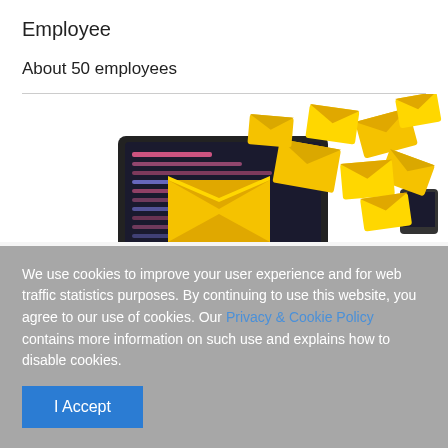Employee
About 50 employees
[Figure (illustration): Illustration of a laptop with an open yellow envelope and multiple yellow email envelopes flying out, representing email or messaging.]
We use cookies to improve your user experience and for web traffic statistics purposes. By continuing to use this website, you agree to our use of cookies. Our Privacy & Cookie Policy contains more information on such use and explains how to disable cookies.
I Accept